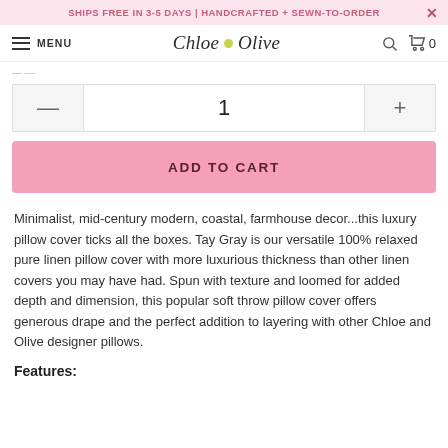SHIPS FREE IN 3-5 DAYS | HANDCRAFTED + SEWN-TO-ORDER
Chloe n Olive — MENU — 0
1
ADD TO CART
Minimalist, mid-century modern, coastal, farmhouse decor...this luxury pillow cover ticks all the boxes. Tay Gray is our versatile 100% relaxed pure linen pillow cover with more luxurious thickness than other linen covers you may have had. Spun with texture and loomed for added depth and dimension, this popular soft throw pillow cover offers generous drape and the perfect addition to layering with other Chloe and Olive designer pillows.
Features: